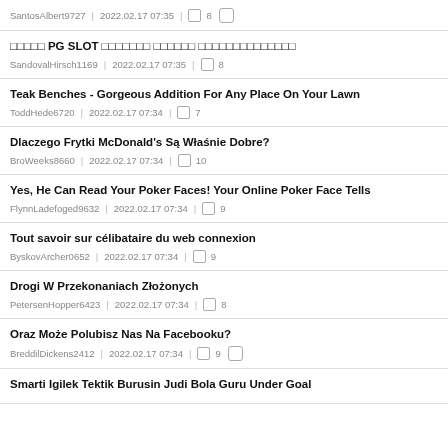SantosAlbert9727 | 2022.02.17 07:35 | 8 [icon]
□□□□□ PG SLOT □□□□□□□ □□□□□□ □□□□□□□□□□□□□□
SandovalHirsch1169 | 2022.02.17 07:35 | 8
Teak Benches - Gorgeous Addition For Any Place On Your Lawn
ToddHede6720 | 2022.02.17 07:34 | 7
Dlaczego Frytki McDonald's Są Właśnie Dobre?
BroWeeks8660 | 2022.02.17 07:34 | 10
Yes, He Can Read Your Poker Faces! Your Online Poker Face Tells
FlynnLadefoged9632 | 2022.02.17 07:34 | 9
Tout savoir sur célibataire du web connexion
ByskovArcher0652 | 2022.02.17 07:34 | 9
Drogi W Przekonaniach Złożonych
PetersenHopper6423 | 2022.02.17 07:34 | 8
Oraz Może Polubisz Nas Na Facebooku?
BreddilDickens2412 | 2022.02.17 07:34 | 9 [icon]
Smarti Igilek Tektik Burusin Judi Bola Guru Under Goal